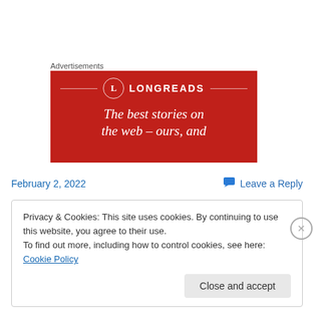Advertisements
[Figure (illustration): Longreads advertisement banner with red background showing the Longreads logo (circle with L) and tagline 'The best stories on the web — ours, and']
February 2, 2022
Leave a Reply
Privacy & Cookies: This site uses cookies. By continuing to use this website, you agree to their use.
To find out more, including how to control cookies, see here: Cookie Policy